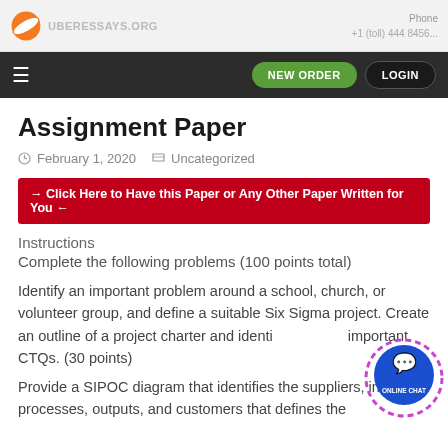UBERESSAYS.ORG | Phone: +1 (toll) 444 8456...
NEW ORDER | LOGIN
Assignment Paper
February 1, 2020   Uncategorized
→ Click Here to Have this Paper or Any Other Paper Written for You ←
Instructions
Complete the following problems (100 points total)
Identify an important problem around a school, church, or volunteer group, and define a suitable Six Sigma project. Create an outline of a project charter and identify the important CTQs. (30 points)
Provide a SIPOC diagram that identifies the suppliers, inputs, processes, outputs, and customers that defines the